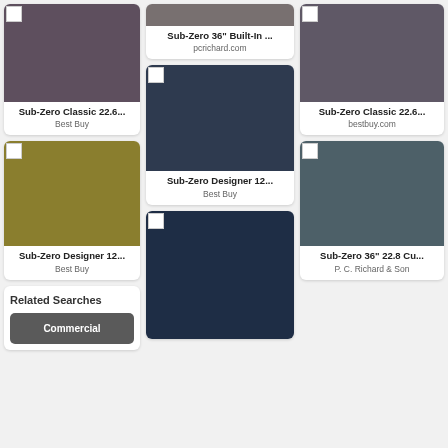[Figure (screenshot): Google Shopping search results grid showing Sub-Zero refrigerator products in three columns with product images (color blocks), titles, and source websites.]
Sub-Zero 36" Built-In ...
pcrichard.com
Sub-Zero Classic 22.6...
Best Buy
Sub-Zero Classic 22.6...
bestbuy.com
Sub-Zero Designer 12...
Best Buy
Sub-Zero Designer 12...
Best Buy
Sub-Zero 36" 22.8 Cu...
P. C. Richard & Son
Related Searches
Commercial